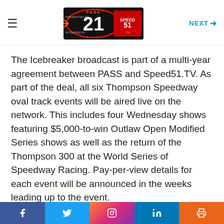NEXT →
[Figure (logo): Race track / PASS Series 21 event logo with speed51 branding]
The Icebreaker broadcast is part of a multi-year agreement between PASS and Speed51.TV. As part of the deal, all six Thompson Speedway oval track events will be aired live on the network. This includes four Wednesday shows featuring $5,000-to-win Outlaw Open Modified Series shows as well as the return of the Thompson 300 at the World Series of Speedway Racing. Pay-per-view details for each event will be announced in the weeks leading up to the event.
“We’re excited that fans around the world can now watch every lap of Thompson Speedway oval action in
f  Twitter  Instagram  in  Print